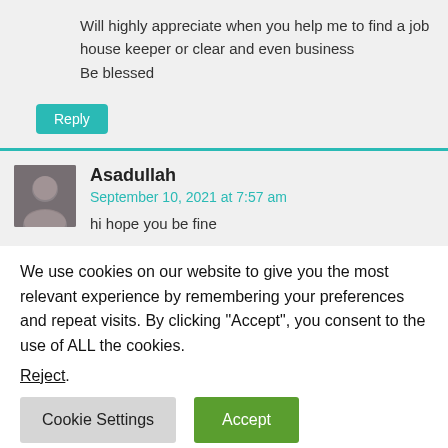Will highly appreciate when you help me to find a job house keeper or clear and even business
Be blessed
Reply
Asadullah
September 10, 2021 at 7:57 am
hi hope you be fine
We use cookies on our website to give you the most relevant experience by remembering your preferences and repeat visits. By clicking “Accept”, you consent to the use of ALL the cookies.
Reject.
Cookie Settings
Accept